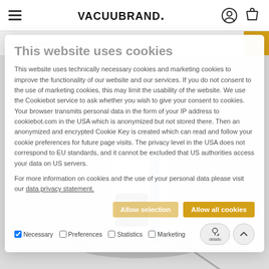VACUUBRAND.
This website uses cookies
This website uses technically necessary cookies and marketing cookies to improve the functionality of our website and our services. If you do not consent to the use of marketing cookies, this may limit the usability of the website. We use the Cookiebot service to ask whether you wish to give your consent to cookies. Your browser transmits personal data in the form of your IP address to cookiebot.com in the USA which is anonymized but not stored there. Then an anonymized and encrypted Cookie Key is created which can read and follow your cookie preferences for future page visits. The privacy level in the USA does not correspond to EU standards, and it cannot be excluded that US authorities access your data on US servers.
For more information on cookies and the use of your personal data please visit our data privacy statement.
[Figure (photo): VACUUBRAND BVC laboratory vacuum pump / aspirator product image]
Allow selection  Allow all cookies
Necessary  Preferences  Statistics  Marketing  Show details